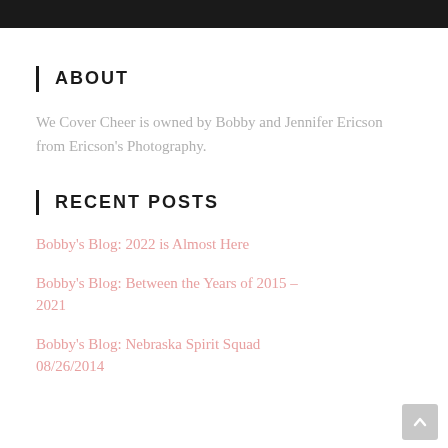ABOUT
We Cover Cheer is owned by Bobby and Jennifer Ericson from Ericson's Photography.
RECENT POSTS
Bobby's Blog: 2022 is Almost Here
Bobby's Blog: Between the Years of 2015 – 2021
Bobby's Blog: Nebraska Spirit Squad 08/26/2014